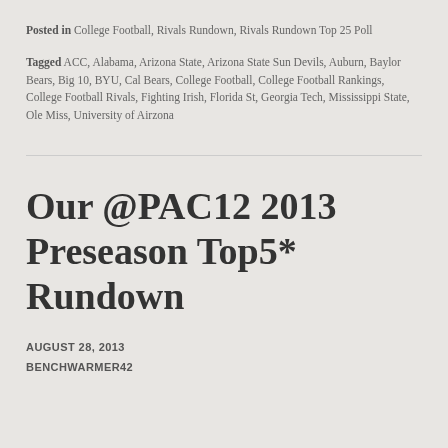Posted in College Football, Rivals Rundown, Rivals Rundown Top 25 Poll
Tagged ACC, Alabama, Arizona State, Arizona State Sun Devils, Auburn, Baylor Bears, Big 10, BYU, Cal Bears, College Football, College Football Rankings, College Football Rivals, Fighting Irish, Florida St, Georgia Tech, Mississippi State, Ole Miss, University of Airzona
Our @PAC12 2013 Preseason Top5* Rundown
AUGUST 28, 2013
BENCHWARMER42